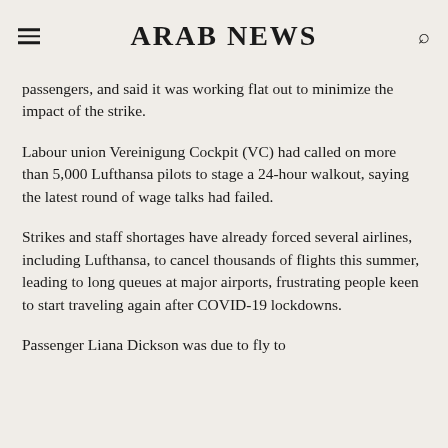ARAB NEWS
passengers, and said it was working flat out to minimize the impact of the strike.
Labour union Vereinigung Cockpit (VC) had called on more than 5,000 Lufthansa pilots to stage a 24-hour walkout, saying the latest round of wage talks had failed.
Strikes and staff shortages have already forced several airlines, including Lufthansa, to cancel thousands of flights this summer, leading to long queues at major airports, frustrating people keen to start traveling again after COVID-19 lockdowns.
Passenger Liana Dickson was due to fly to